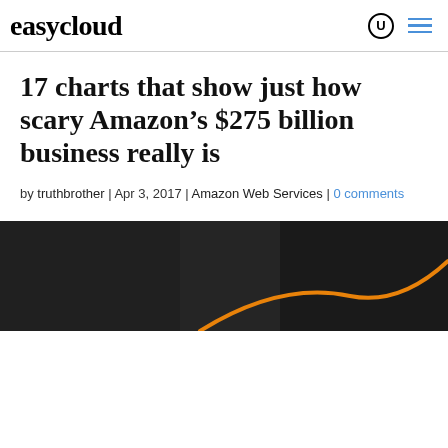easycloud
17 charts that show just how scary Amazon’s $275 billion business really is
by truthbrother | Apr 3, 2017 | Amazon Web Services | 0 comments
[Figure (photo): Dark background image with an orange curved line, partial view at the bottom of the page]